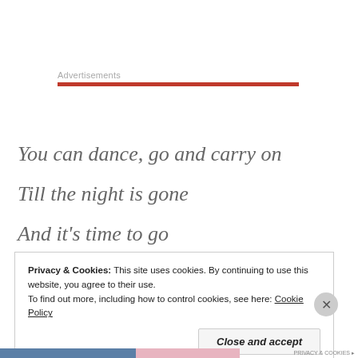Advertisements
You can dance, go and carry on
Till the night is gone
And it's time to go
Privacy & Cookies: This site uses cookies. By continuing to use this website, you agree to their use.
To find out more, including how to control cookies, see here: Cookie Policy
Close and accept